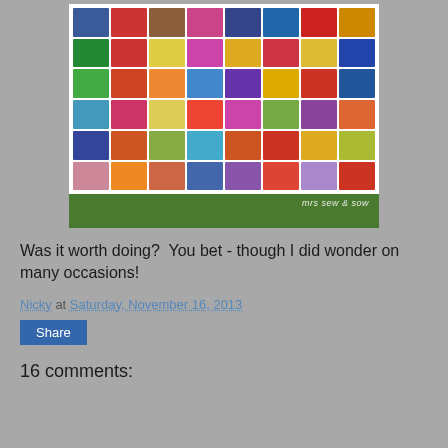[Figure (photo): A colorful patchwork quilt displayed outdoors on a stand, showing many different quilt block patterns in various colors against a white background. The quilt is in a garden with green grass and trees. Watermark reads 'mrs sew & sow'.]
Was it worth doing?  You bet - though I did wonder on many occasions!
Nicky at Saturday, November 16, 2013
Share
16 comments: